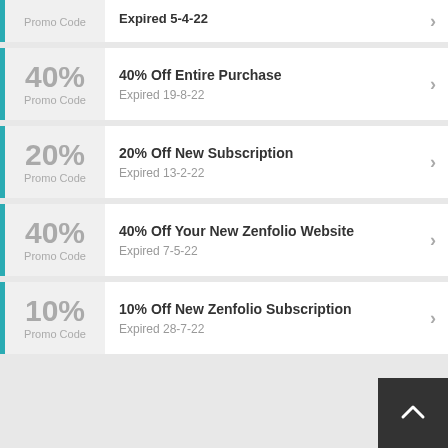Promo Code — Expired 5-4-22
40% — Promo Code — 40% Off Entire Purchase — Expired 19-8-22
20% — Promo Code — 20% Off New Subscription — Expired 13-2-22
40% — Promo Code — 40% Off Your New Zenfolio Website — Expired 7-5-22
10% — Promo Code — 10% Off New Zenfolio Subscription — Expired 28-7-22